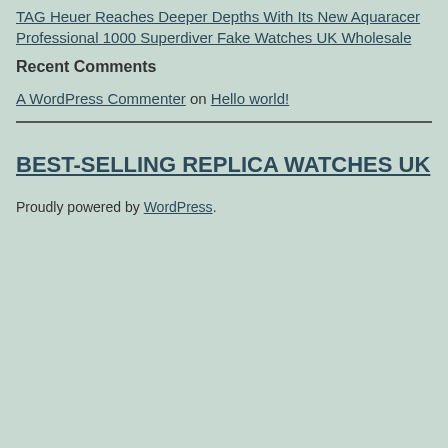TAG Heuer Reaches Deeper Depths With Its New Aquaracer Professional 1000 Superdiver Fake Watches UK Wholesale
Recent Comments
A WordPress Commenter on Hello world!
BEST-SELLING REPLICA WATCHES UK
Proudly powered by WordPress.